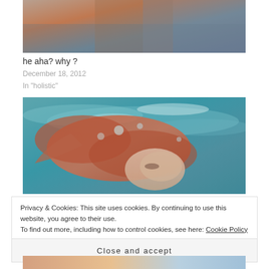[Figure (photo): Partial cropped photo at top showing a person in colorful clothing against a blurred background]
he aha? why ?
December 18, 2012
In "holistic"
[Figure (photo): Underwater photograph of a person with red/auburn hair submerged in blue-green water]
Privacy & Cookies: This site uses cookies. By continuing to use this website, you agree to their use.
To find out more, including how to control cookies, see here: Cookie Policy
Close and accept
[Figure (photo): Partial bottom strip of another photo]